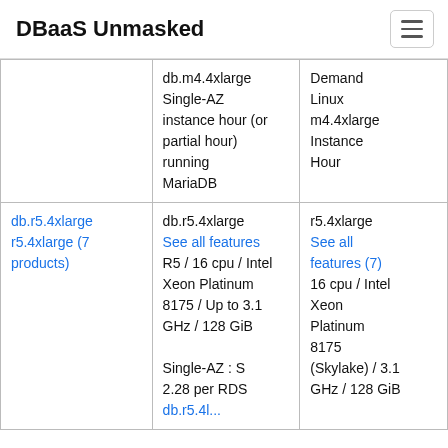DBaaS Unmasked
| Product | Description | EC2 Equivalent |
| --- | --- | --- |
|  | db.m4.4xlarge Single-AZ instance hour (or partial hour) running MariaDB | Demand Linux m4.4xlarge Instance Hour |
| db.r5.4xlarge r5.4xlarge (7 products) | db.r5.4xlarge See all features R5 / 16 cpu / Intel Xeon Platinum 8175 / Up to 3.1 GHz / 128 GiB

Single-AZ : S 2.28 per RDS db.r5.4xlarge... | r5.4xlarge See all features (7) 16 cpu / Intel Xeon Platinum 8175 (Skylake) / 3.1 GHz / 128 GiB |